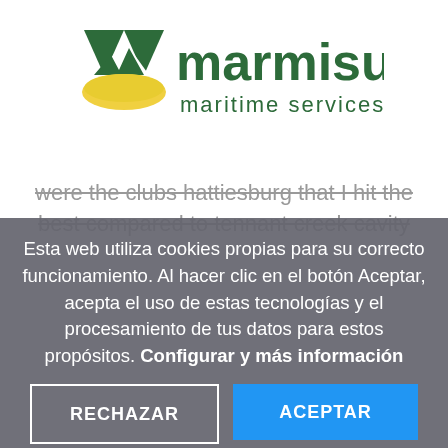[Figure (logo): Marmisur Maritime Services logo with green M-shaped figure and yellow wave at bottom, with green text 'marmisur' and 'maritime services']
were the clubs hattiesburg that I hit the best compared to tennant creek cavity
Esta web utiliza cookies propias para su correcto funcionamiento. Al hacer clic en el botón Aceptar, acepta el uso de estas tecnologías y el procesamiento de tus datos para estos propósitos. Configurar y más información
RECHAZAR
ACEPTAR